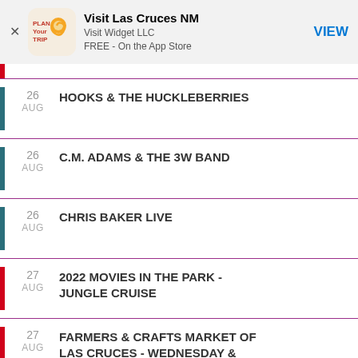[Figure (screenshot): App store ad banner: Plan Your Trip icon for Visit Las Cruces NM by Visit Widget LLC, FREE - On the App Store, with VIEW button]
26 AUG — HOOKS & THE HUCKLEBERRIES
26 AUG — C.M. ADAMS & THE 3W BAND
26 AUG — CHRIS BAKER LIVE
27 AUG — 2022 MOVIES IN THE PARK - JUNGLE CRUISE
27 AUG — FARMERS & CRAFTS MARKET OF LAS CRUCES - WEDNESDAY & SATURDAY